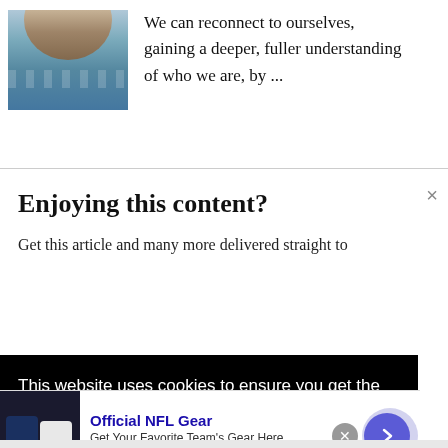[Figure (photo): Person near water, possibly ocean, with hair visible]
We can reconnect to ourselves, gaining a deeper, fuller understanding of who we are, by ...
Enjoying this content?
Get this article and many more delivered straight to
This website uses cookies to ensure you get the best experience on our website. Learn More
[Figure (photo): NFL jerseys advertisement - Official NFL Gear]
Official NFL Gear
Get Your Favorite Team's Gear Here
www.nflshop.com